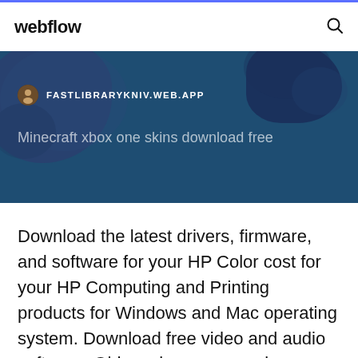webflow
[Figure (screenshot): Hero banner with dark blue background showing world map blobs, a site icon, URL 'FASTLIBRARYKNIV.WEB.APP', and subtitle 'Minecraft xbox one skins download free']
Download the latest drivers, firmware, and software for your HP Color cost for your HP Computing and Printing products for Windows and Mac operating system. Download free video and audio software. Old versions, user reviews, version history, screenshots.